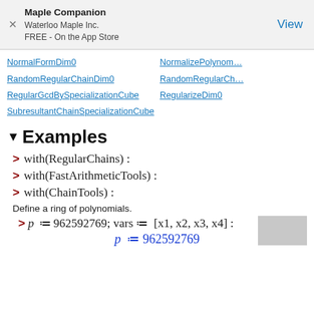Maple Companion
Waterloo Maple Inc.
FREE - On the App Store
View
NormalFormDim0
NormalizePolynomials (truncated)
RandomRegularChainDim0
RandomRegularChain (truncated)
RegularGcdBySpecializationCube
RegularizeDim0
SubresultantChainSpecializationCube
▼Examples
> with(RegularChains) :
> with(FastArithmeticTools) :
> with(ChainTools) :
Define a ring of polynomials.